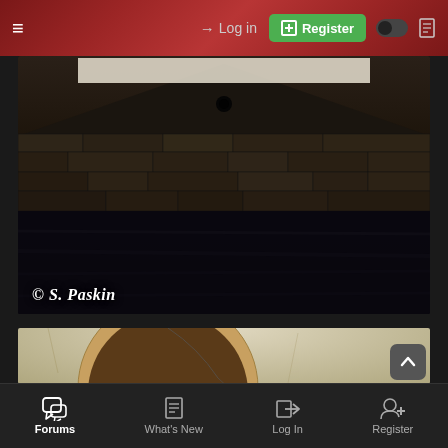≡  → Log in  ⊞ Register
[Figure (photo): Dark stone wall with rough masonry blocks, dimly lit interior. Copyright watermark '© S. Paskin' in white cursive text at bottom left.]
[Figure (photo): Interior photo of a rounded archway / vault with beige/tan plaster walls. Wooden beam or door visible at center, with small metal hardware pieces. The arch curves down from the ceiling.]
Forums  What's New  Log In  Register